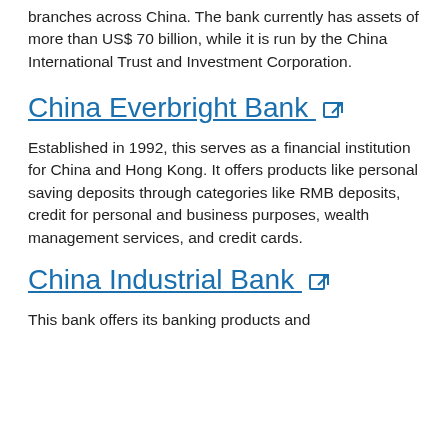branches across China. The bank currently has assets of more than US$ 70 billion, while it is run by the China International Trust and Investment Corporation.
China Everbright Bank
Established in 1992, this serves as a financial institution for China and Hong Kong. It offers products like personal saving deposits through categories like RMB deposits, credit for personal and business purposes, wealth management services, and credit cards.
China Industrial Bank
This bank offers its banking products and